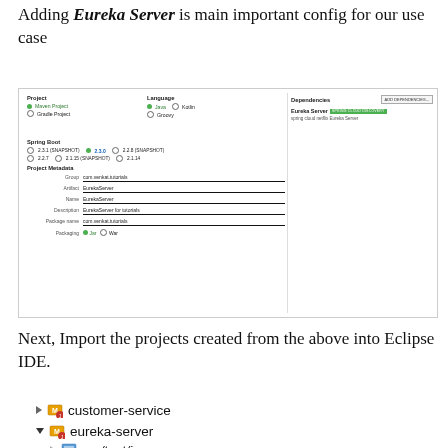Adding Eureka Server is main important config for our use case
[Figure (screenshot): Spring Initializr configuration screenshot showing Project (Maven Project selected), Language (Java selected), Spring Boot version (2.3.0 selected), Project Metadata fields (Group: com.venkat.tutorials, Artifact: EurekaServer, Name: EurekaServer, Description: EurekaServer for tutorials, Package name: com.venkat.tutorials, Packaging: Jar selected), and Dependencies panel showing Eureka Server with SPRING CLOUD DISCOVERY badge and description 'spring cloud netflix Eureka Server', with ADD DEPENDENCIES button.]
Next, Import the projects created from the above into Eclipse IDE.
customer-service
eureka-server
src/test/java (partially visible)